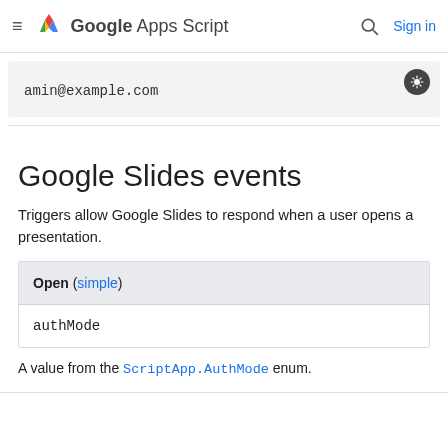≡ Google Apps Script  🔍  Sign in
amin@example.com
Google Slides events
Triggers allow Google Slides to respond when a user opens a presentation.
| Open (simple) |
| --- |
| authMode |
A value from the ScriptApp.AuthMode enum.